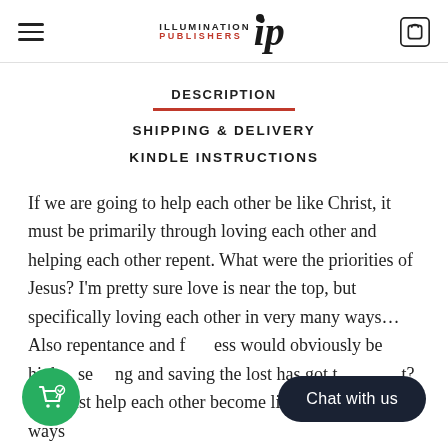Illumination Publishers IP logo with hamburger menu and cart icon
DESCRIPTION
SHIPPING & DELIVERY
KINDLE INSTRUCTIONS
If we are going to help each other be like Christ, it must be primarily through loving each other and helping each other repent. What were the priorities of Jesus? I'm pretty sure love is near the top, but specifically loving each other in very many ways…Also repentance and forgiveness would obviously be high…seeking and saving the lost has got to be right? We must help each other become like him in these ways